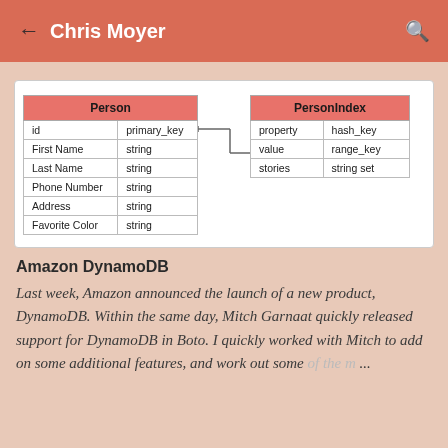Chris Moyer
[Figure (other): Database diagram showing two tables: Person (with fields id/primary_key, First Name/string, Last Name/string, Phone Number/string, Address/string, Favorite Color/string) connected to PersonIndex (with fields property/hash_key, value/range_key, stories/string set)]
Amazon DynamoDB
Last week, Amazon announced the launch of a new product, DynamoDB. Within the same day, Mitch Garnaat quickly released support for DynamoDB in Boto. I quickly worked with Mitch to add on some additional features, and work out some of the m...